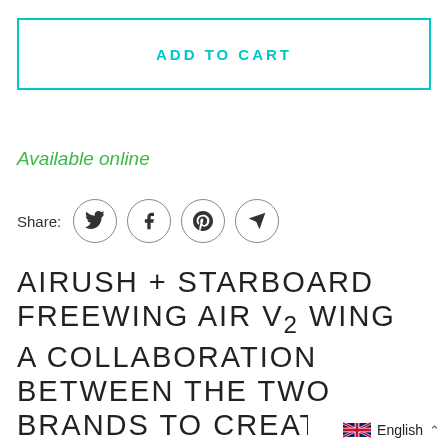ADD TO CART
Available online
Share:
AIRUSH + STARBOARD FREEWING AIR V2 WING A COLLABORATION BETWEEN THE TWO BRANDS TO CREATE THE PERFECT ALLROUND FOIL WING
English